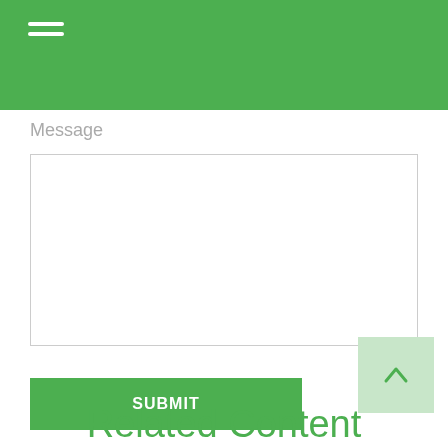Message
[Figure (screenshot): Empty textarea input field for message]
SUBMIT
Related Content